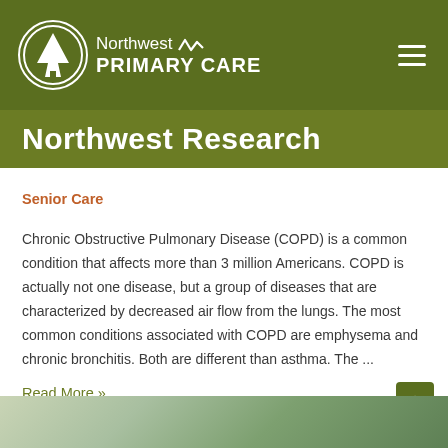[Figure (logo): Northwest Primary Care logo with tree in circle, white text on olive green header bar]
Northwest Research
Senior Care
Chronic Obstructive Pulmonary Disease (COPD) is a common condition that affects more than 3 million Americans. COPD is actually not one disease, but a group of diseases that are characterized by decreased air flow from the lungs. The most common conditions associated with COPD are emphysema and chronic bronchitis. Both are different than asthma. The ...
Read More »
[Figure (photo): Partial photo of a person at the bottom of the page]